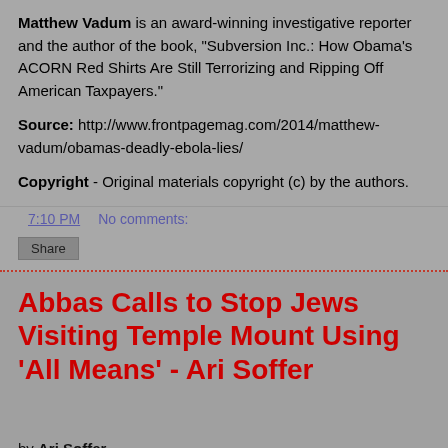Matthew Vadum is an award-winning investigative reporter and the author of the book, "Subversion Inc.: How Obama's ACORN Red Shirts Are Still Terrorizing and Ripping Off American Taxpayers."
Source: http://www.frontpagemag.com/2014/matthew-vadum/obamas-deadly-ebola-lies/
Copyright - Original materials copyright (c) by the authors.
7:10 PM   No comments:
Share
Abbas Calls to Stop Jews Visiting Temple Mount Using 'All Means' - Ari Soffer
by Ari Soffer